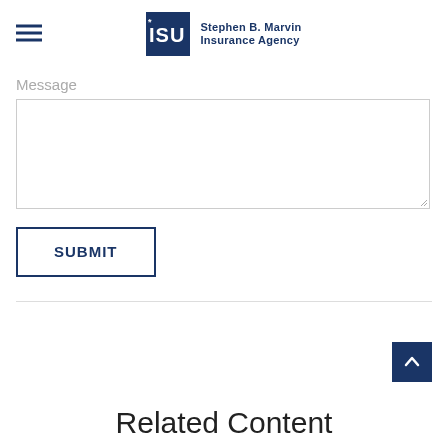ISU Stephen B. Marvin Insurance Agency
Message
SUBMIT
Related Content